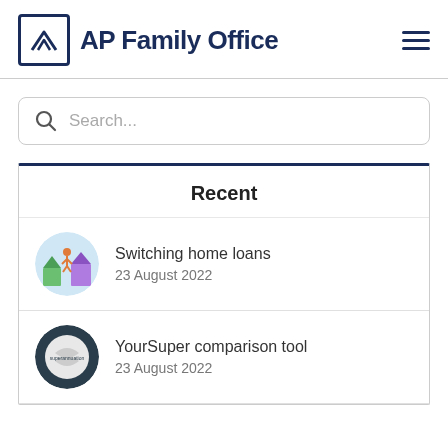[Figure (logo): AP Family Office logo with geometric mountain/triangle icon in navy square border, followed by bold navy text 'AP Family Office']
Search...
Recent
[Figure (illustration): Circular illustration showing a person jumping between houses, colorful cartoon style]
Switching home loans
23 August 2022
[Figure (photo): Circular photo of a soccer ball or sports ball with 'Superannuation' text on it]
YourSuper comparison tool
23 August 2022